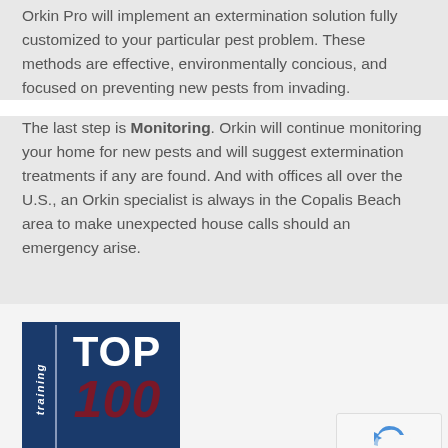Orkin Pro will implement an extermination solution fully customized to your particular pest problem. These methods are effective, environmentally concious, and focused on preventing new pests from invading.
The last step is Monitoring. Orkin will continue monitoring your home for new pests and will suggest extermination treatments if any are found. And with offices all over the U.S., an Orkin specialist is always in the Copalis Beach area to make unexpected house calls should an emergency arise.
[Figure (logo): Training TOP 100 badge/logo with blue background, 'training' in vertical italic text on left side with gold accent, 'TOP' in large white bold text and '100' in large dark red italic bold text on right side.]
[Figure (other): Google reCAPTCHA widget showing the reCAPTCHA logo (blue arrows forming a cycle) and 'Privacy - Terms' text below.]